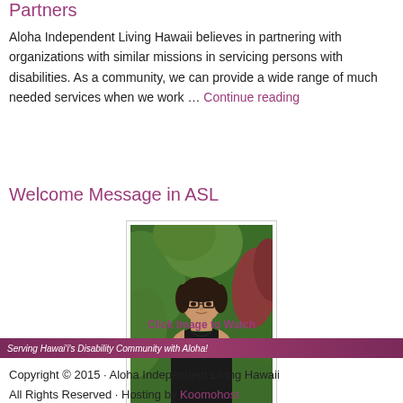Partners
Aloha Independent Living Hawaii believes in partnering with organizations with similar missions in servicing persons with disabilities. As a community, we can provide a wide range of much needed services when we work … Continue reading
Welcome Message in ASL
[Figure (photo): A woman wearing glasses and a black sleeveless top standing in front of green tropical foliage]
Click Image to Watch
Serving Hawai'i's Disability Community with Aloha!
Copyright © 2015 · Aloha Independent Living Hawaii All Rights Reserved · Hosting by Koomohost